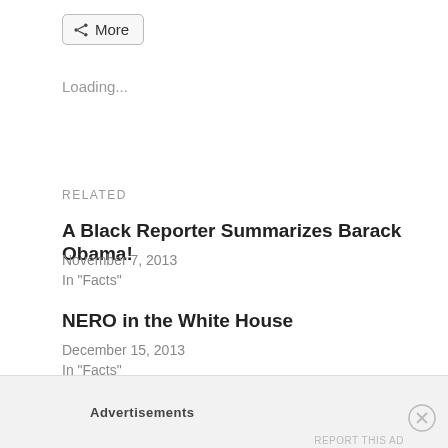[Figure (other): Share button with icon labeled More]
Loading...
RELATED
A Black Reporter Summarizes Barack Obama!
November 7, 2013
In "Facts"
NERO in the White House
December 15, 2013
In "Facts"
Obama Serves Governors with Warnings of
Advertisements